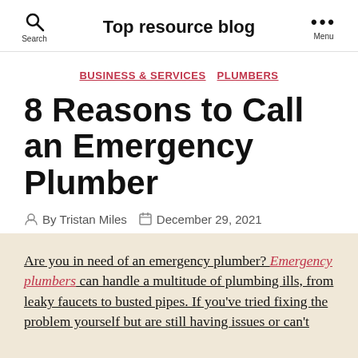Top resource blog
BUSINESS & SERVICES   PLUMBERS
8 Reasons to Call an Emergency Plumber
By Tristan Miles   December 29, 2021
Are you in need of an emergency plumber? Emergency plumbers can handle a multitude of plumbing ills, from leaky faucets to busted pipes. If you've tried fixing the problem yourself but are still having issues or can't